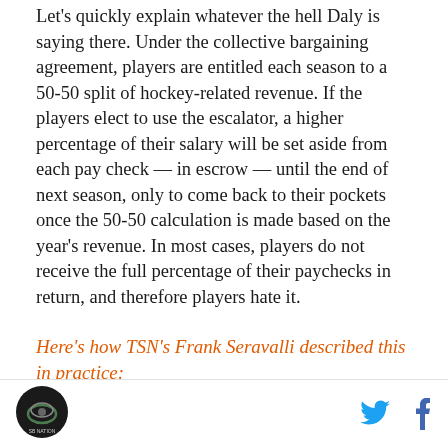Let's quickly explain whatever the hell Daly is saying there. Under the collective bargaining agreement, players are entitled each season to a 50-50 split of hockey-related revenue. If the players elect to use the escalator, a higher percentage of their salary will be set aside from each pay check — in escrow — until the end of next season, only to come back to their pockets once the 50-50 calculation is made based on the year's revenue. In most cases, players do not receive the full percentage of their paychecks in return, and therefore players hate it.
Here's how TSN's Frank Seravalli described this in practice:
.
[logo] [twitter] [facebook]